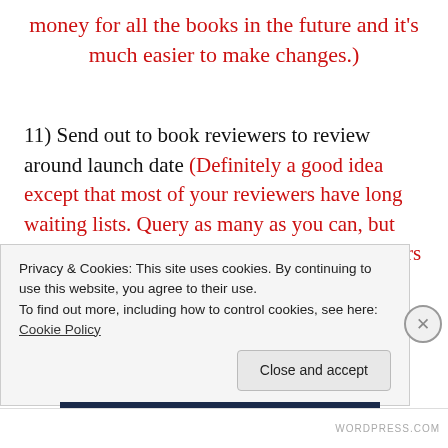money for all the books in the future and it's much easier to make changes.)
11) Send out to book reviewers to review around launch date (Definitely a good idea except that most of your reviewers have long waiting lists. Query as many as you can, but you can always do this after release. Blog tours are a good idea before a release, but only if they
Privacy & Cookies: This site uses cookies. By continuing to use this website, you agree to their use. To find out more, including how to control cookies, see here: Cookie Policy